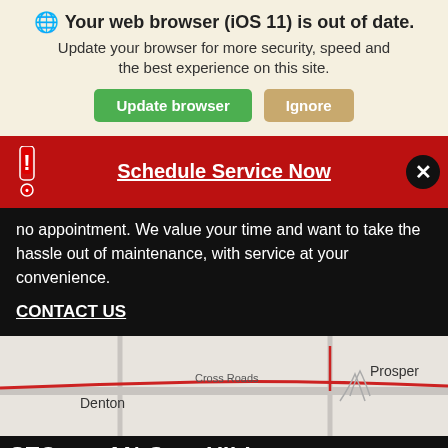[Figure (screenshot): Browser update notification banner on a beige/cream background with globe icon, bold title, descriptive text, and two buttons: green 'Update browser' and tan 'Ignore']
Your web browser (iOS 11) is out of date. Update your browser for more security, speed and the best experience on this site.
[Figure (screenshot): Red bar with white underlined text 'Schedule Service Now', red exclamation icon on left, dark close button on right]
no appointment. We value your time and want to take the hassle out of maintenance, with service at your convenience.
CONTACT US
[Figure (map): Road map showing Denton, Cross Roads, and Prosper locations with red road lines]
STO AN C VILL
Espanol   Text Us   Chat Live